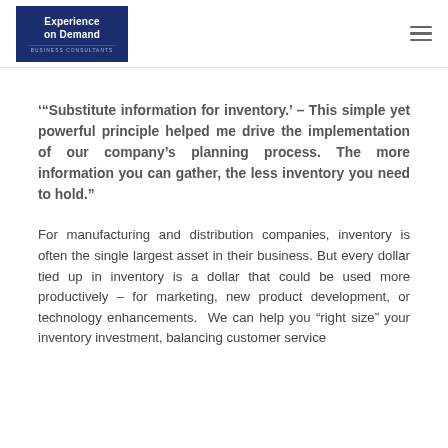[Figure (logo): Experience on Demand Business Consultants logo — white text on dark navy blue background]
'‘Substitute information for inventory.’ – This simple yet powerful principle helped me drive the implementation of our company’s planning process. The more information you can gather, the less inventory you need to hold.”
For manufacturing and distribution companies, inventory is often the single largest asset in their business. But every dollar tied up in inventory is a dollar that could be used more productively – for marketing, new product development, or technology enhancements.  We can help you “right size” your inventory investment, balancing customer service